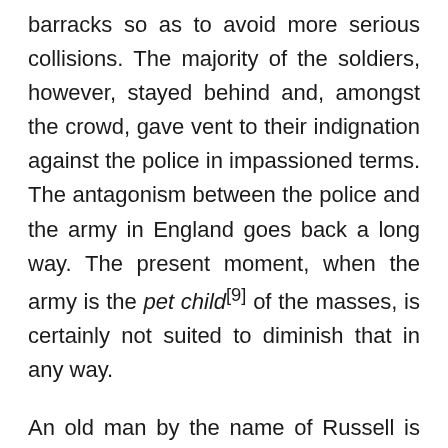barracks so as to avoid more serious collisions. The majority of the soldiers, however, stayed behind and, amongst the crowd, gave vent to their indignation against the police in impassioned terms. The antagonism between the police and the army in England goes back a long way. The present moment, when the army is the pet child[9] of the masses, is certainly not suited to diminish that in any way.
An old man by the name of Russell is reported to have died today as a result of the injuries he received; half a dozen injured people are in St. George's Hospital. During the demonstration various attempts were again made to hold